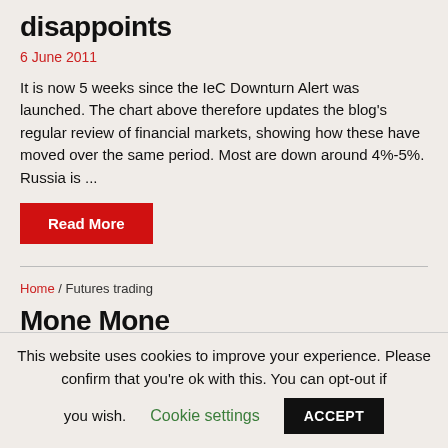disappoints
6 June 2011
It is now 5 weeks since the IeC Downturn Alert was launched. The chart above therefore updates the blog's regular review of financial markets, showing how these have moved over the same period. Most are down around 4%-5%. Russia is ...
Read More
Home / Futures trading
This website uses cookies to improve your experience. Please confirm that you're ok with this. You can opt-out if you wish.
Cookie settings
ACCEPT